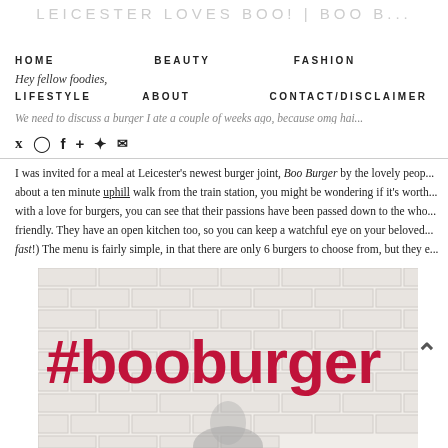LEICESTER LOVES BOO! | BOO B...
HOME   BEAUTY   FASHION
Hey fellow foodies,
LIFESTYLE   ABOUT   CONTACT/DISCLAIMER
We need to discuss a burger I ate a couple of weeks ago, because omg hai...
[Figure (other): Social media icons: Twitter, Instagram, Facebook, Google+, Snapchat, Email]
I was invited for a meal at Leicester's newest burger joint, Boo Burger by the lovely peop... about a ten minute uphill walk from the train station, you might be wondering if it's worth... with a love for burgers, you can see that their passions have been passed down to the who... friendly. They have an open kitchen too, so you can keep a watchful eye on your beloved... fast!) The menu is fairly simple, in that there are only 6 burgers to choose from, but they e...
[Figure (photo): Photo of a white painted brick wall with large red text '#booburger' and a person standing in front of it]